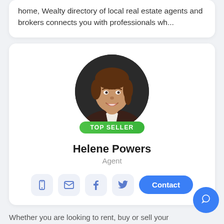home, Wealty directory of local real estate agents and brokers connects you with professionals wh...
[Figure (photo): Circular profile photo of a woman in professional attire (dark blazer, white shirt) with brown hair pulled back, smiling, against a dark background. A green 'TOP SELLER' badge appears below the photo.]
Helene Powers
Agent
Whether you are looking to rent, buy or sell your